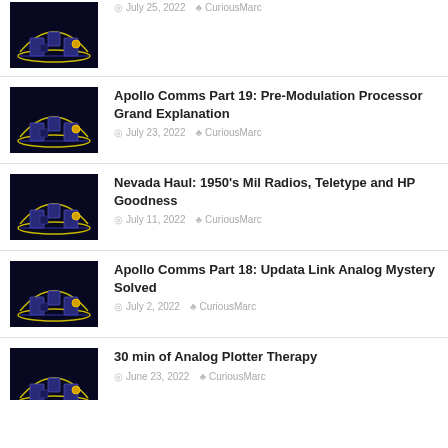[Figure (illustration): Thumbnail image with dark background showing neon blue circuit/dome illustration]
July 25, 2022  CuriousMarc
[Figure (illustration): Thumbnail image with dark background showing neon blue circuit/dome illustration]
Apollo Comms Part 19: Pre-Modulation Processor Grand Explanation
July 23, 2022  CuriousMarc
[Figure (illustration): Thumbnail image with dark background showing neon blue circuit/dome illustration]
Nevada Haul: 1950's Mil Radios, Teletype and HP Goodness
July 11, 2022  CuriousMarc
[Figure (illustration): Thumbnail image with dark background showing neon blue circuit/dome illustration]
Apollo Comms Part 18: Updata Link Analog Mystery Solved
July 2, 2022  CuriousMarc
[Figure (illustration): Thumbnail image with dark background showing neon blue circuit/dome illustration]
30 min of Analog Plotter Therapy
June 23, 2022  CuriousMarc